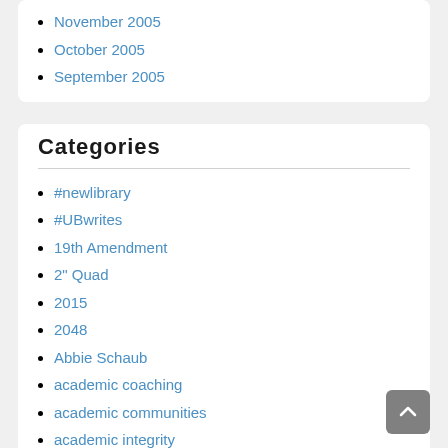November 2005
October 2005
September 2005
Categories
#newlibrary
#UBwrites
19th Amendment
2" Quad
2015
2048
Abbie Schaub
academic coaching
academic communities
academic integrity
academic libraries
academic success
academic support
academic writing